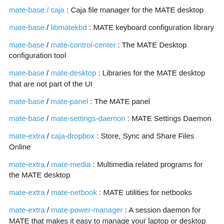mate-base / caja : Caja file manager for the MATE desktop
mate-base / libmatekbd : MATE keyboard configuration library
mate-base / mate-control-center : The MATE Desktop configuration tool
mate-base / mate-desktop : Libraries for the MATE desktop that are not part of the UI
mate-base / mate-panel : The MATE panel
mate-base / mate-settings-daemon : MATE Settings Daemon
mate-extra / caja-dropbox : Store, Sync and Share Files Online
mate-extra / mate-media : Multimedia related programs for the MATE desktop
mate-extra / mate-netbook : MATE utilities for netbooks
mate-extra / mate-power-manager : A session daemon for MATE that makes it easy to manage your laptop or desktop
mate-extra / mate-screensaver : Replaces xscreensaver, integrating with the MATE desktop
mate-extra / mate-sensors-applet : MATE panel applet to display readings from hardware sensors